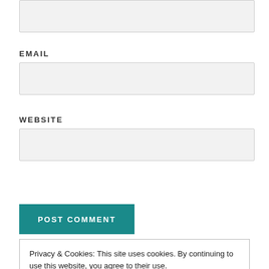[Figure (screenshot): Top input field (partially visible at top of page)]
EMAIL
[Figure (screenshot): Email input field]
WEBSITE
[Figure (screenshot): Website input field]
[Figure (screenshot): POST COMMENT button (teal)]
NOTIFY ME OF NEW COMMENTS VIA EMAIL.
Privacy & Cookies: This site uses cookies. By continuing to use this website, you agree to their use. To find out more, including how to control cookies, see here: Cookie Policy
Close and accept